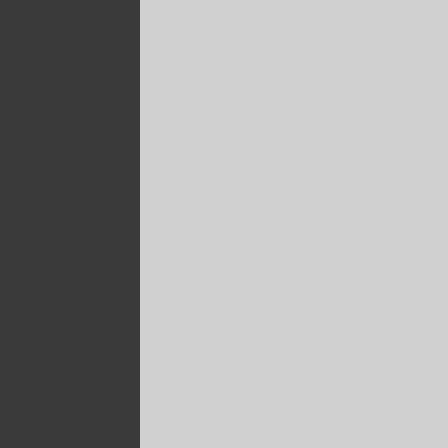[Figure (bar-chart): Bar chart with green positive and dark red negative bars showing monthly retail sales changes, x-axis labeled 2008, 2009, 2010]
and ex-autos/gas saw a drop of 0...
[Figure (line-chart): Two-line chart, one dark gray line and one tan/orange line, showing volatile movements across monthly data]
[Figure (bar-chart): Bar chart with green positive and dark red negative bars, x-axis labeled Dec 011, Mar, Jun 2012]
The breakdown: after sliding 1.6%... insult to housing contraction injur...